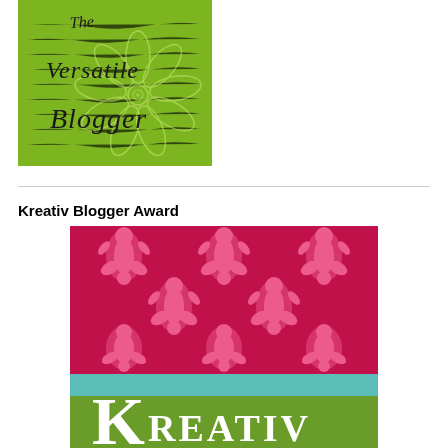[Figure (illustration): The Versatile Blogger award badge - green background with white flower/lotus design and handwritten-style black text reading 'The Versatile Blogger']
Kreativ Blogger Award
[Figure (illustration): Kreativ Blogger Award badge - top half has crimson/red background with pink damask floral pattern, middle has teal/aqua horizontal stripe, bottom has olive green background with large white letter K and white text 'KREATIV']